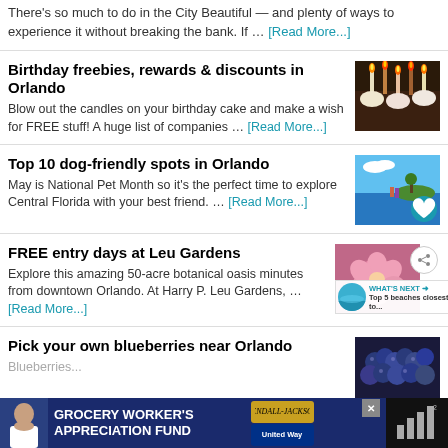There's so much to do in the City Beautiful — and plenty of ways to experience it without breaking the bank. If … [Read More...]
Birthday freebies, rewards & discounts in Orlando
Blow out the candles on your birthday cake and make a wish for FREE stuff! A huge list of companies … [Read More...]
[Figure (photo): Birthday cake with candles]
Top 10 dog-friendly spots in Orlando
May is National Pet Month so it's the perfect time to explore Central Florida with your best friend. … [Read More...]
[Figure (photo): Scenic water view with people]
FREE entry days at Leu Gardens
Explore this amazing 50-acre botanical oasis minutes from downtown Orlando. At Harry P. Leu Gardens, … [Read More...]
[Figure (photo): Pink flower and beach scene]
Pick your own blueberries near Orlando
[Figure (photo): Blueberries]
[Figure (photo): Grocery Worker's Appreciation Fund advertisement banner]